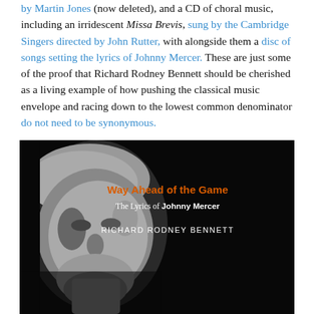by Martin Jones (now deleted), and a CD of choral music, including an irridescent Missa Brevis, sung by the Cambridge Singers directed by John Rutter, with alongside them a disc of songs setting the lyrics of Johnny Mercer. These are just some of the proof that Richard Rodney Bennett should be cherished as a living example of how pushing the classical music envelope and racing down to the lowest common denominator do not need to be synonymous.
[Figure (photo): Album cover for 'Way Ahead of the Game – The Lyrics of Johnny Mercer' by Richard Rodney Bennett. Black background with a black-and-white photo of Richard Rodney Bennett on the left, and orange and white text on the right.]